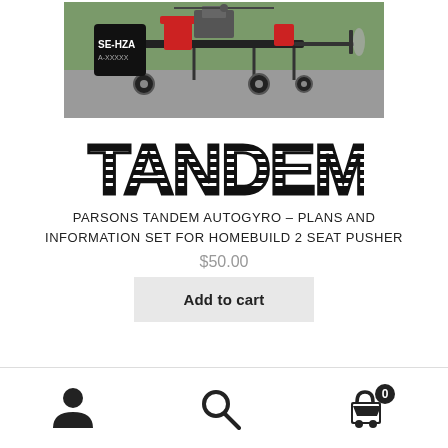[Figure (photo): Photo of a tandem autogyro aircraft labeled SE-HZA on a paved surface outdoors. The aircraft has a pusher engine configuration with two seats and visible rotor mast.]
[Figure (logo): TANDEM logo in large decorative striped block letters]
PARSONS TANDEM AUTOGYRO – PLANS AND INFORMATION SET FOR HOMEBUILD 2 SEAT PUSHER
$50.00
Add to cart
User icon | Search icon | Cart icon with badge 0